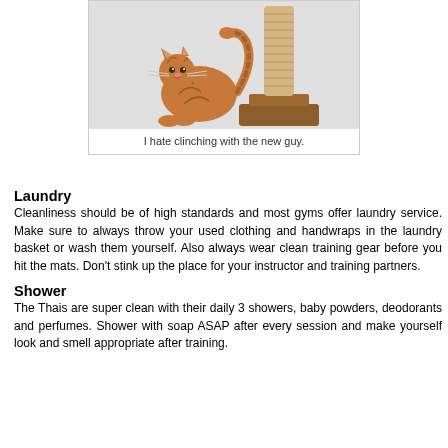[Figure (photo): A tabby cat leaning against a wooden scratching post on a light gray background]
I hate clinching with the new guy.
Laundry
Cleanliness should be of high standards and most gyms offer laundry service. Make sure to always throw your used clothing and handwraps in the laundry basket or wash them yourself. Also always wear clean training gear before you hit the mats. Don't stink up the place for your instructor and training partners.
Shower
The Thais are super clean with their daily 3 showers, baby powders, deodorants and perfumes. Shower with soap ASAP after every session and make yourself look and smell appropriate after training.